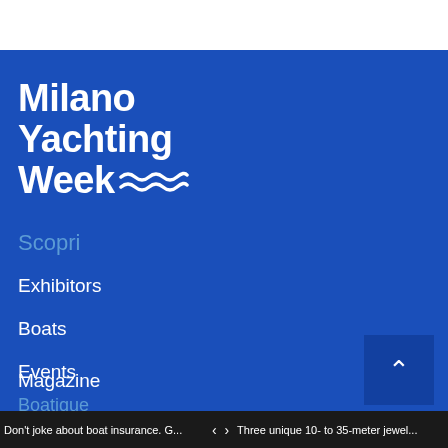[Figure (logo): Milano Yachting Week logo with wave symbol in white on blue background]
Scopri
Exhibitors
Boats
Events
Magazine
Boatique
Don't joke about boat insurance. G...   <   >   Three unique 10- to 35-meter jewel...